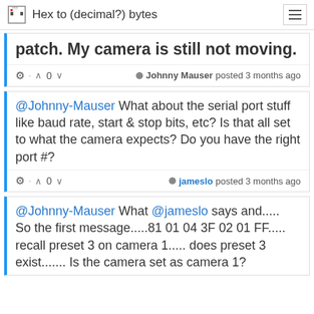Hex to (decimal?) bytes
patch. My camera is still not moving.
Johnny Mauser posted 3 months ago
@Johnny-Mauser What about the serial port stuff like baud rate, start & stop bits, etc? Is that all set to what the camera expects? Do you have the right port #?
jameslo posted 3 months ago
@Johnny-Mauser What @jameslo says and..... So the first message.....81 01 04 3F 02 01 FF..... recall preset 3 on camera 1..... does preset 3 exist....... Is the camera set as camera 1?